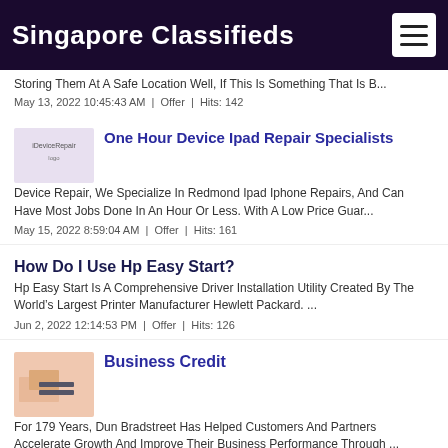Singapore Classifieds
Storing Them At A Safe Location Well, If This Is Something That Is B...
May 13, 2022 10:45:43 AM  |  Offer  |  Hits: 142
One Hour Device Ipad Repair Specialists
Device Repair, We Specialize In Redmond Ipad Iphone Repairs, And Can Have Most Jobs Done In An Hour Or Less. With A Low Price Guar...
May 15, 2022 8:59:04 AM  |  Offer  |  Hits: 161
How Do I Use Hp Easy Start?
Hp Easy Start Is A Comprehensive Driver Installation Utility Created By The World’s Largest Printer Manufacturer Hewlett Packard. ...
Jun 2, 2022 12:14:53 PM  |  Offer  |  Hits: 126
Business Credit
For 179 Years, Dun Bradstreet Has Helped Customers And Partners Accelerate Growth And Improve Their Business Performance Through ...
Jun 20, 2022 12:05:32 PM  |  Offer  |  Hits: 113